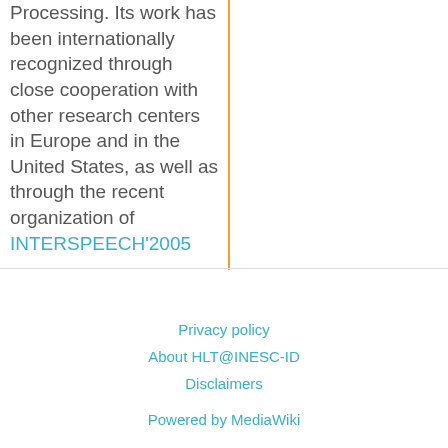Processing. Its work has been internationally recognized through close cooperation with other research centers in Europe and in the United States, as well as through the recent organization of INTERSPEECH'2005
Privacy policy | About HLT@INESC-ID | Disclaimers | Powered by MediaWiki